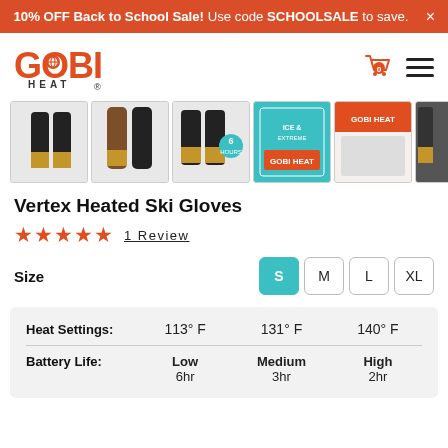10% OFF Back to School Sale! Use code SCHOOLSALE to save.
[Figure (logo): Gobi Heat brand logo in orange/red color]
[Figure (photo): Product image strip showing 6 thumbnails of Vertex Heated Ski Gloves from various angles and packaging]
Vertex Heated Ski Gloves
★★★★★  1 Review
Size   S   M   L   XL
|  | Low / 113° F | Medium / 131° F | High / 140° F |
| --- | --- | --- | --- |
| Heat Settings: | 113° F | 131° F | 140° F |
| Battery Life: | Low
6hr | Medium
3hr | High
2hr |